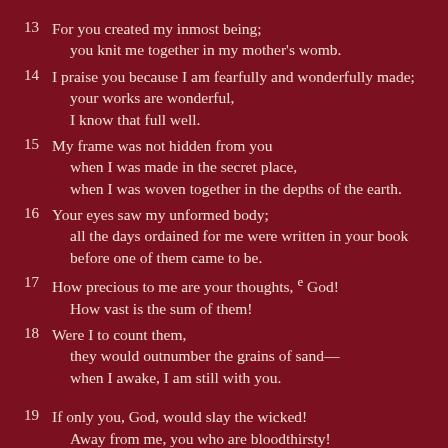13 For you created my inmost being;
    you knit me together in my mother’s womb.
14 I praise you because I am fearfully and wonderfully made;
    your works are wonderful,
    I know that full well.
15 My frame was not hidden from you
    when I was made in the secret place,
    when I was woven together in the depths of the earth.
16 Your eyes saw my unformed body;
    all the days ordained for me were written in your book
    before one of them came to be.
17 How precious to me are your thoughts, e God!
    How vast is the sum of them!
18 Were I to count them,
    they would outnumber the grains of sand—
    when I awake, I am still with you.
19 If only you, God, would slay the wicked!
    Away from me, you who are bloodthirsty!
20 ...